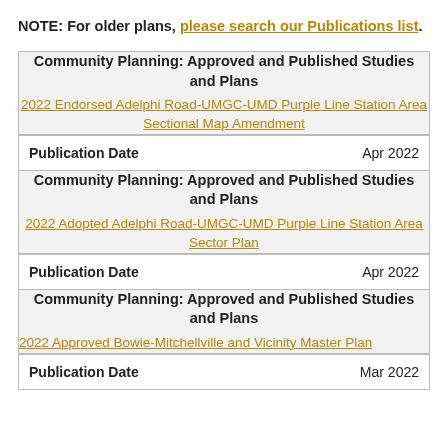NOTE: For older plans, please search our Publications list.
| Community Planning: Approved and Published Studies and Plans | 2022 Endorsed Adelphi Road-UMGC-UMD Purple Line Station Area Sectional Map Amendment |
| Publication Date | Apr 2022 |
| Community Planning: Approved and Published Studies and Plans | 2022 Adopted Adelphi Road-UMGC-UMD Purple Line Station Area Sector Plan |
| Publication Date | Apr 2022 |
| Community Planning: Approved and Published Studies and Plans | 2022 Approved Bowie-Mitchellville and Vicinity Master Plan |
| Publication Date | Mar 2022 |